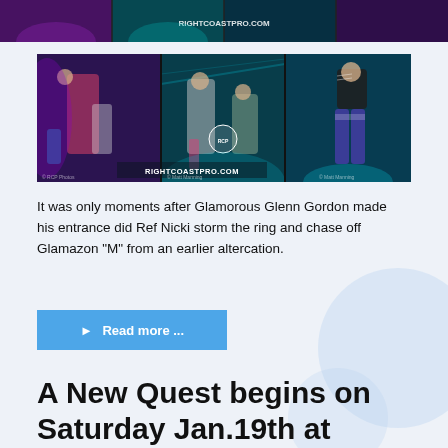[Figure (photo): Top banner strip showing wrestling event with purple/teal lighting and RIGHTCOASTPRO.COM watermark]
[Figure (photo): Three-panel collage of wrestling event photos showing wrestlers in a ring with teal/purple lighting, RIGHTCOASTPRO.COM watermark visible]
It was only moments after Glamorous Glenn Gordon made his entrance did Ref Nicki storm the ring and chase off Glamazon “M” from an earlier altercation.
▶ Read more ...
A New Quest begins on Saturday Jan.19th at Right